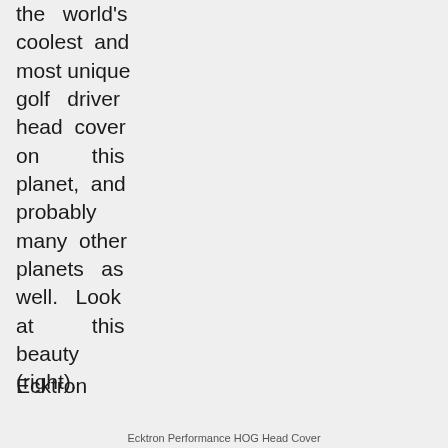the world's coolest and most unique golf driver head cover on this planet, and probably many other planets as well. Look at this beauty (right).
Ecktron
Ecktron Performance HOG Head Cover